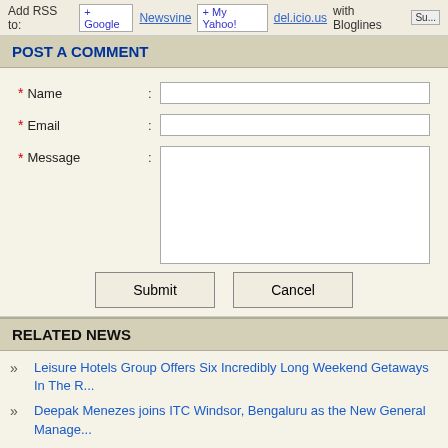Add RSS to: Newsvine del.icio.us with Bloglines
POST A COMMENT
* Name : [input field]
* Email : [input field]
* Message : [textarea field]
Submit | Cancel
RELATED NEWS
Leisure Hotels Group Offers Six Incredibly Long Weekend Getaways In The ...
Deepak Menezes joins ITC Windsor, Bengaluru as the New General Manage...
Hindware unveils New Easy Clean Countertop Basin and Shower Enclosures...
Four Points by Sheraton Vashi announces appointment of Kiran Muniraj as D... Rooms
IHCL Announces The Opening Of Its Fourth Ginger Hotel in Ahmedabad
Fortune Park Pushpanjali, Durgapur organises Blood Donation Camp to e...